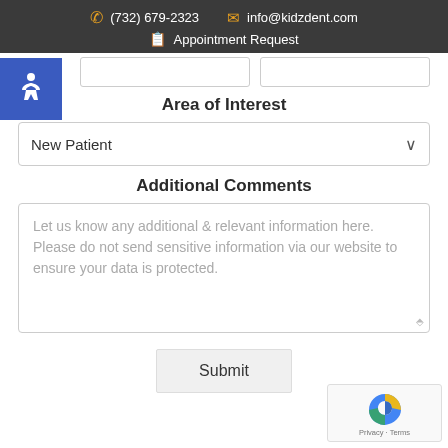(732) 679-2323   info@kidzdent.com   Appointment Request
[Figure (illustration): Blue accessibility wheelchair icon button in top-left corner]
Area of Interest
New Patient
Additional Comments
Let us know any additional & relevant information here. Please do not send sensitive information via our website to ensure your data is protected.
Submit
[Figure (logo): reCAPTCHA logo with Privacy - Terms text]